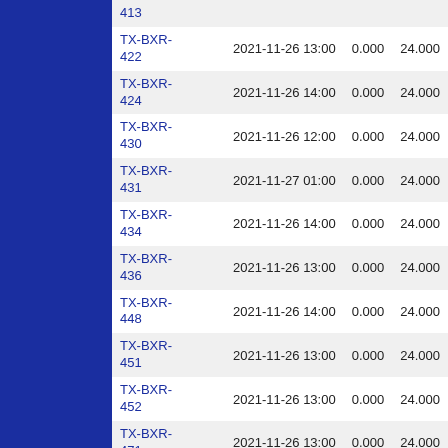| Name | DateTime | Value1 | Value2 |
| --- | --- | --- | --- |
| 413 |  |  |  |
| TX-BXR-422 | 2021-11-26 13:00 | 0.000 | 24.000 |
| TX-BXR-424 | 2021-11-26 14:00 | 0.000 | 24.000 |
| TX-BXR-430 | 2021-11-26 12:00 | 0.000 | 24.000 |
| TX-BXR-431 | 2021-11-27 01:00 | 0.000 | 24.000 |
| TX-BXR-434 | 2021-11-26 14:00 | 0.000 | 24.000 |
| TX-BXR-436 | 2021-11-26 13:00 | 0.000 | 24.000 |
| TX-BXR-448 | 2021-11-26 14:00 | 0.000 | 24.000 |
| TX-BXR-451 | 2021-11-26 13:00 | 0.000 | 24.000 |
| TX-BXR-452 | 2021-11-26 13:00 | 0.000 | 24.000 |
| TX-BXR-471 | 2021-11-26 13:00 | 0.000 | 24.000 |
| TX-BXR-477 | 2021-11-26 13:00 | 0.000 | 24.000 |
| TX-BXR-48 | 2021-11-26 14:00 | 0.000 | 24.000 |
| TX-BXR-95 | 2021-11-26 13:00 | 0.000 | 24.000 |
| TX-BZS-100 | 2021-11-26 15:00 | 0.000 | 24.000 |
| TX-BZS- | 2021-11-26 13:00 | 0.000 | 24.000 |